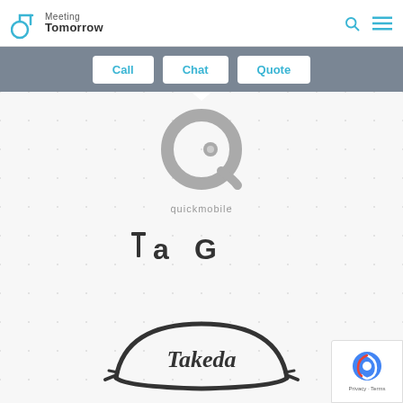Meeting Tomorrow
[Figure (logo): quickmobile logo - circular Q mark in gray with 'quickmobile' text below]
[Figure (logo): TAG logo in dark gray with stylized lowercase letters]
[Figure (logo): Takeda pharmaceutical logo in dark oval frame with italic text]